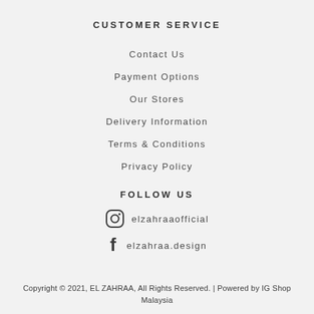CUSTOMER SERVICE
Contact Us
Payment Options
Our Stores
Delivery Information
Terms & Conditions
Privacy Policy
FOLLOW US
elzahraaofficial
elzahraa.design
Copyright © 2021, EL ZAHRAA, All Rights Reserved. | Powered by IG Shop Malaysia